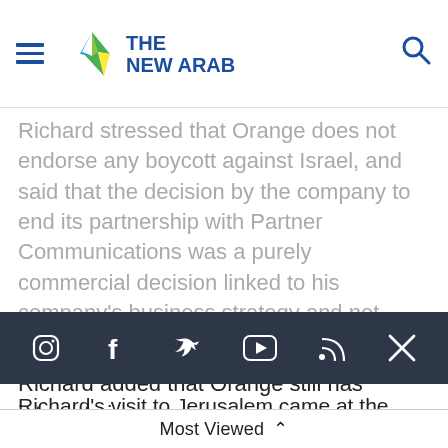The New Arab
Richard stressed that Orange does not endorse any boycott against Israel, and said that the decision by the company to end its partnership with Partner Communications was a purely commercial decision linked to his company's business strategy and not driven by any political motivations.
Richard added that Orange still has interests in
[Figure (other): Social media icons bar: Instagram, Facebook, Twitter, YouTube, RSS, X on dark background]
Richard's visit to Jerusalem came at the request of Netanyahu, who had called the French president Francois Hollande in protest. The French state owns 25 percent of Orange, which was formerly
Most Viewed ^